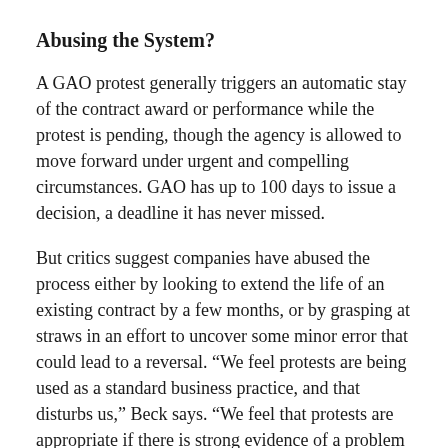Abusing the System?
A GAO protest generally triggers an automatic stay of the contract award or performance while the protest is pending, though the agency is allowed to move forward under urgent and compelling circumstances. GAO has up to 100 days to issue a decision, a deadline it has never missed.
But critics suggest companies have abused the process either by looking to extend the life of an existing contract by a few months, or by grasping at straws in an effort to uncover some minor error that could lead to a reversal. “We feel protests are being used as a standard business practice, and that disturbs us,” Beck says. “We feel that protests are appropriate if there is strong evidence of a problem in the acquisition process but we don’t think it’s appropriate as a post-award strategy for those contractors that were defeated by bids that were simply deemed superior in a fair and open process.”